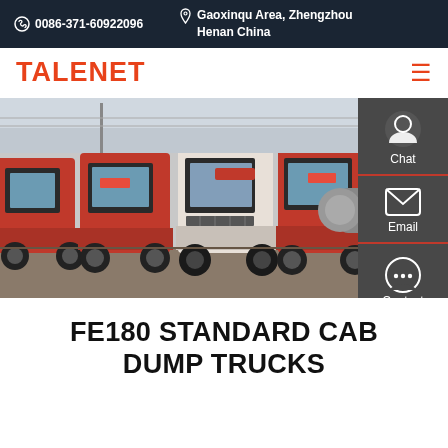0086-371-60922096  |  Gaoxinqu Area, Zhengzhou Henan China
TALENET
[Figure (photo): Row of red Talenet trucks parked side by side, with one white cab truck visible among them. Trucks face forward showing front grilles and cabs. Background shows an industrial/lot setting.]
FE180 STANDARD CAB DUMP TRUCKS